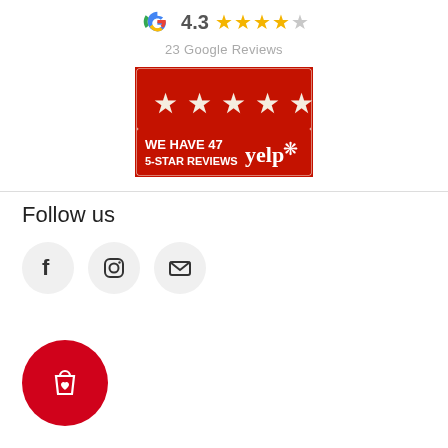[Figure (logo): Google reviews badge showing 4.3 stars out of 5 with 23 Google Reviews]
[Figure (logo): Yelp badge showing 5 stars with text WE HAVE 47 5-STAR REVIEWS and Yelp logo]
Follow us
[Figure (infographic): Three social media icon circles: Facebook (f), Instagram (camera), and Email (envelope)]
[Figure (logo): Red circular shopping bag with heart icon button at bottom left]